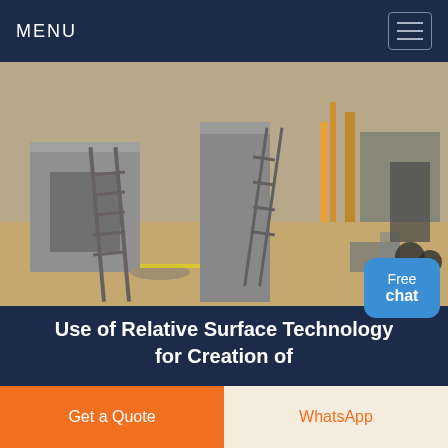MENU
[Figure (photo): Construction site photo showing precast concrete elements, ladders, scaffolding, sandy ground, and orange construction equipment in the background]
Use of Relative Surface Technology for Creation of
· The project team selected the Topcon SmoothRide Resurfacing solution for both creation of the 3D model and use during the milling operation. The accuracy of the relative surface...
Get a Quote | WhatsApp